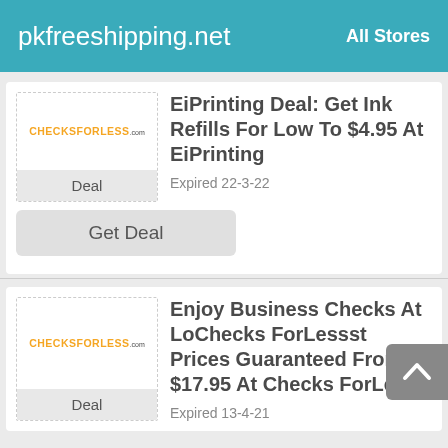pkfreeshipping.net    All Stores
EiPrinting Deal: Get Ink Refills For Low To $4.95 At EiPrinting
Expired 22-3-22
Get Deal
Enjoy Business Checks At LoChecks ForLessst Prices Guaranteed From $17.95 At Checks ForLess
Expired 13-4-21